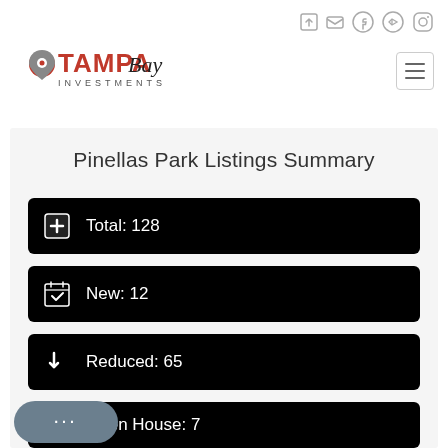[Figure (logo): Tampa Bay Investments logo with map pin icon and stylized text]
Pinellas Park Listings Summary
Total: 128
New: 12
Reduced: 65
Open House: 7